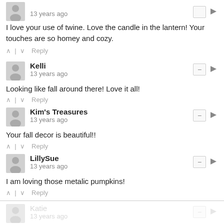13 years ago
I love your use of twine. Love the candle in the lantern! Your touches are so homey and cozy.
^ | v  Reply
Kelli
13 years ago
Looking like fall around there! Love it all!
^ | v  Reply
Kim's Treasures
13 years ago
Your fall decor is beautiful!!
^ | v  Reply
LillySue
13 years ago
I am loving those metalic pumpkins!
^ | v  Reply
Katie
13 years ago